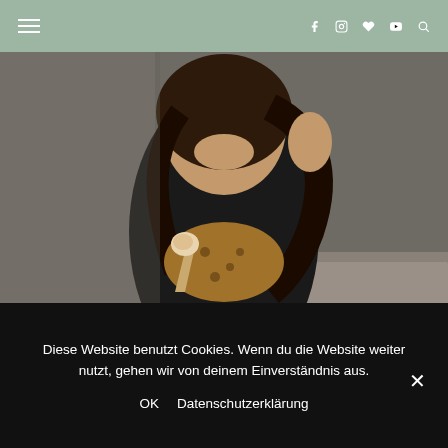Navigation header with hamburger menu and social icons (Facebook, Instagram, Heart, YouTube, Search)
[Figure (photo): A smiling young woman with long brown hair wearing a black leather jacket over a leopard print top, holding an ice cream cone, standing on a cobblestone street.]
Diese Website benutzt Cookies. Wenn du die Website weiter nutzt, gehen wir von deinem Einverständnis aus.
OK   Datenschutzerklärung